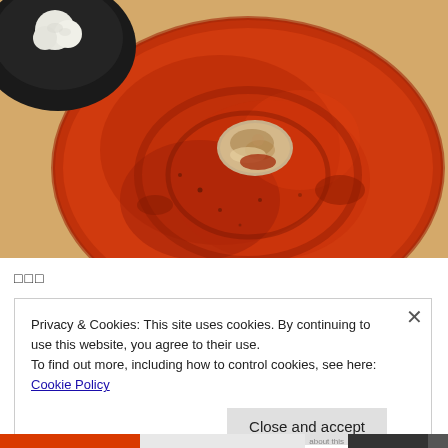[Figure (photo): A red ceramic plate with a single piece of grilled or roasted food (appears to be a small piece of meat or seafood) placed in the center. The plate has a mottled orange-red glaze pattern. In the upper left corner, part of a black bowl with white food (possibly rice) is visible. The setting appears to be a restaurant with a light wooden table surface.]
□□□
Privacy & Cookies: This site uses cookies. By continuing to use this website, you agree to their use.
To find out more, including how to control cookies, see here: Cookie Policy
Close and accept